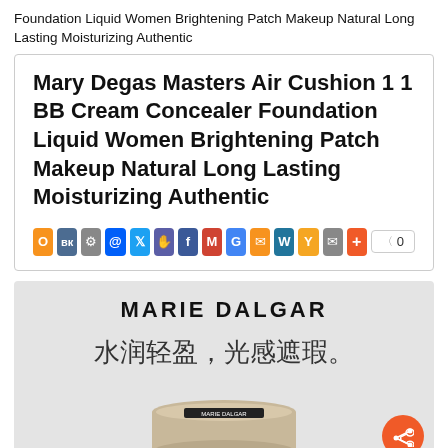Foundation Liquid Women Brightening Patch Makeup Natural Long Lasting Moisturizing Authentic
Mary Degas Masters Air Cushion 1 1 BB Cream Concealer Foundation Liquid Women Brightening Patch Makeup Natural Long Lasting Moisturizing Authentic
[Figure (screenshot): Social media share bar with colored icons for various platforms including Odnoklassniki, VK, ShareThis, Mail.ru, Twitter, MyWorld, Facebook, Gmail, Google, Email, WordPress, Yandex, Mail, and a plus button. Counter showing 0.]
[Figure (photo): Marie Dalgar product image on grey background showing brand name MARIE DALGAR in bold, Chinese text reading 水润轻盈，光感遮瑕。and a cylindrical air cushion compact product at the bottom with an orange share button in bottom right corner.]